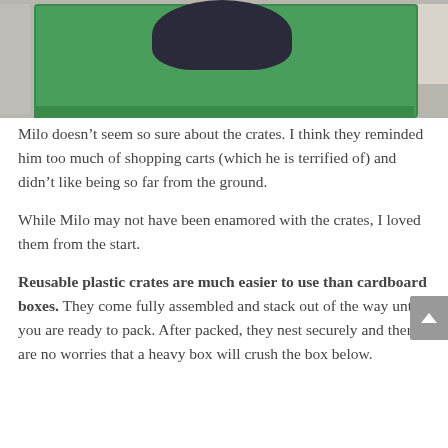[Figure (photo): A dark furry dog or cat sitting inside a green plastic moving crate, photographed from the side. The animal's fur is dark blue-black and it appears to be looking out over the edge of the crate.]
Milo doesn’t seem so sure about the crates. I think they reminded him too much of shopping carts (which he is terrified of) and didn’t like being so far from the ground.
While Milo may not have been enamored with the crates, I loved them from the start.
Reusable plastic crates are much easier to use than cardboard boxes. They come fully assembled and stack out of the way until you are ready to pack. After packed, they nest securely and there are no worries that a heavy box will crush the box below.